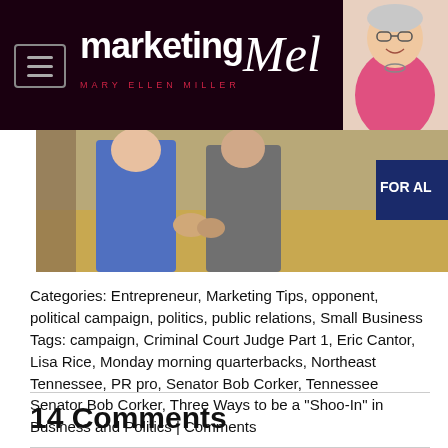marketing Mel — MARY ELLEN MILLER
[Figure (photo): Photo strip showing two people standing, with a sign reading 'FOR ALL' visible in background]
Categories: Entrepreneur, Marketing Tips, opponent, political campaign, politics, public relations, Small Business Tags: campaign, Criminal Court Judge Part 1, Eric Cantor, Lisa Rice, Monday morning quarterbacks, Northeast Tennessee, PR pro, Senator Bob Corker, Tennessee Senator Bob Corker, Three Ways to be a "Shoo-In" in Business and Politics | Comments
14 Comments